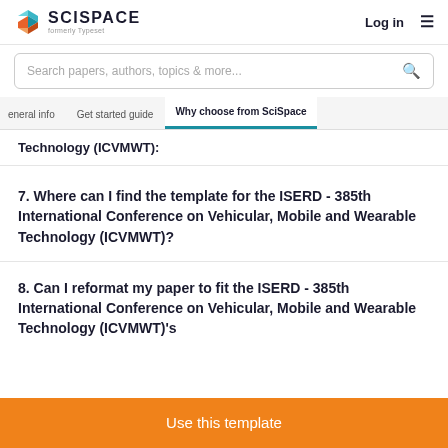SCISPACE formerly Typeset | Log in
Search papers, authors, topics & more...
General info | Get started guide | Why choose from SciSpace
Technology (ICVMWT):
7. Where can I find the template for the ISERD - 385th International Conference on Vehicular, Mobile and Wearable Technology (ICVMWT)?
8. Can I reformat my paper to fit the ISERD - 385th International Conference on Vehicular, Mobile and Wearable Technology (ICVMWT)'s
Use this template